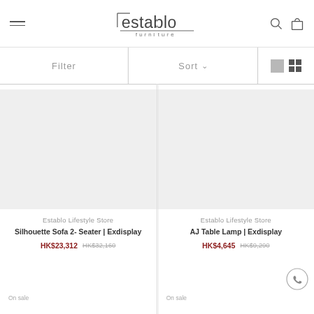Establo Furniture
Filter   Sort   View toggle
Establo Lifestyle Store
Silhouette Sofa 2- Seater | Exdisplay
HK$23,312   HK$32,160
On sale
Establo Lifestyle Store
AJ Table Lamp | Exdisplay
HK$4,645   HK$9,290
On sale